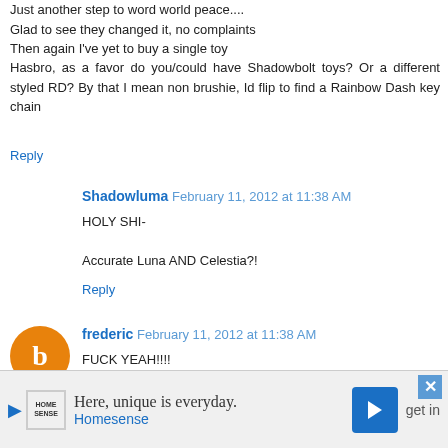Just another step to word world peace....
Glad to see they changed it, no complaints
Then again I've yet to buy a single toy
Hasbro, as a favor do you/could have Shadowbolt toys? Or a different styled RD? By that I mean non brushie, Id flip to find a Rainbow Dash key chain
Reply
Shadowluma  February 11, 2012 at 11:38 AM
HOLY SHI-

Accurate Luna AND Celestia?!
Reply
frederic  February 11, 2012 at 11:38 AM
FUCK YEAH!!!!
Now, I do hope that these ponies will me mass-
Here, unique is everyday.
Homesense
get in